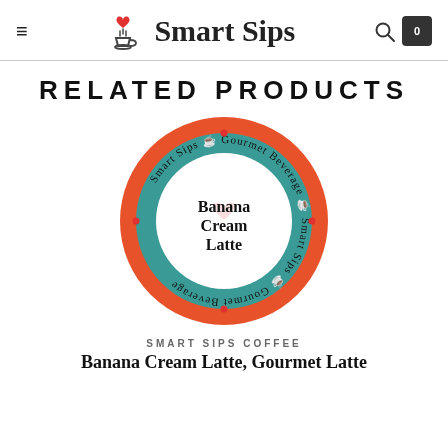Smart Sips
RELATED PRODUCTS
[Figure (photo): Smart Sips Coffee pod label for Banana Cream Latte — circular pod with orange outer ring, teal inner ring reading 'Smart Sips Gourmet Beverage' around the perimeter, and white center with text 'Banana Cream Latte' and a heart/coffee cup logo watermark]
SMART SIPS COFFEE
Banana Cream Latte, Gourmet Latte